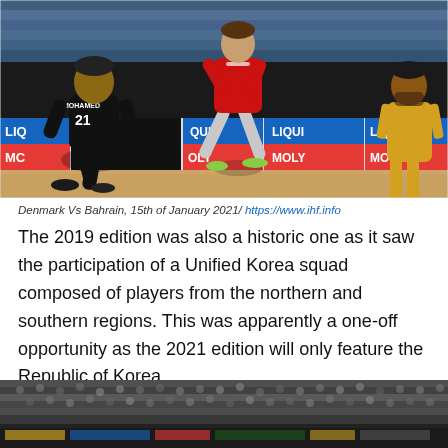[Figure (photo): Handball match photo showing players during Denmark vs Bahrain game. Player wearing black jersey with number 21 and name MOHAMED crouches on court. A player in red Danish jersey jumps in the air. Player in yellow jersey visible on right. LIQUI MOLY advertising boards visible in background.]
Denmark Vs Bahrain, 15th of January 2021/ https://www.ihf.info
The 2019 edition was also a historic one as it saw the participation of a Unified Korea squad composed of players from the northern and southern regions. This was apparently a one-off opportunity as the 2021 edition will only feature the Republic of Korea.
[Figure (photo): Wide-angle photo of handball arena showing large crowd of spectators filling the stands. Dark interior arena visible with banner strips along the bottom portion of the image.]